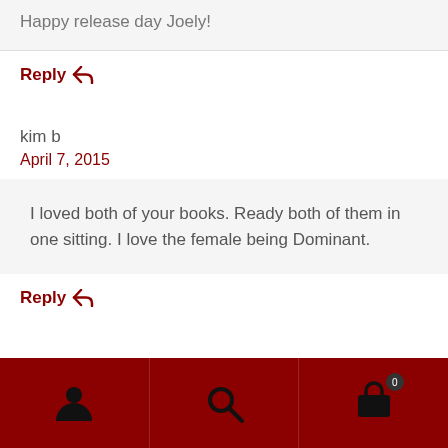Happy release day Joely!
Reply ↩
kim b
April 7, 2015
I loved both of your books. Ready both of them in one sitting. I love the female being Dominant.
Reply ↩
[Figure (other): Bottom navigation bar with person icon, search icon, and shopping cart icon with badge showing 0, on a dark red background]